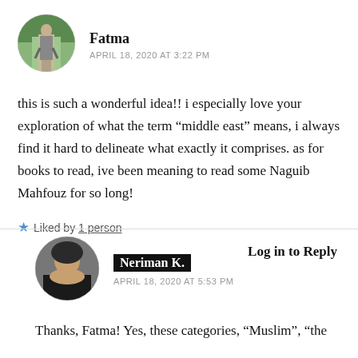[Figure (photo): Circular avatar photo of a person walking on a bridge from behind, surrounded by green foliage]
Fatma
APRIL 18, 2020 AT 3:22 PM
this is such a wonderful idea!! i especially love your exploration of what the term “middle east” means, i always find it hard to delineate what exactly it comprises. as for books to read, ive been meaning to read some Naguib Mahfouz for so long!
Liked by 1 person
Log in to Reply
[Figure (photo): Circular avatar photo of a woman with dark hair wearing a black top]
Neriman K.
APRIL 18, 2020 AT 5:53 PM
Thanks, Fatma! Yes, these categories, “Muslim”, “the